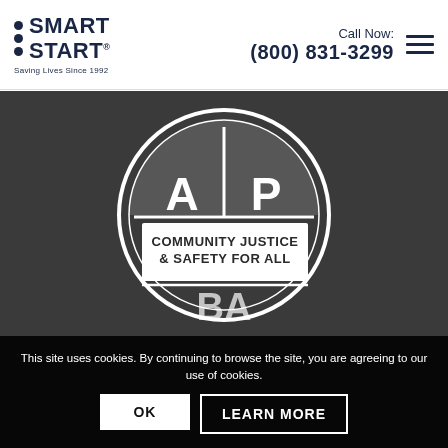SMART START — Saving Lives Since 1992 | Call Now: (800) 831-3299
[Figure (logo): AP Community Justice & Safety For All circular badge/seal logo in white on dark grey background]
This site uses cookies. By continuing to browse the site, you are agreeing to our use of cookies.
OK | LEARN MORE